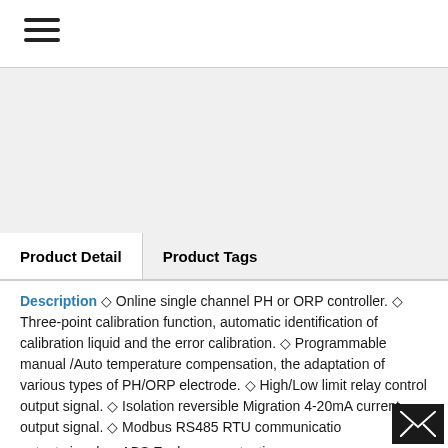☰
[Figure (photo): Product image area (light gray placeholder)]
Product Detail | Product Tags
Description ◇ Online single channel PH or ORP controller. ◇ Three-point calibration function, automatic identification of calibration liquid and the error calibration. ◇ Programmable manual /Auto temperature compensation, the adaptation of various types of PH/ORP electrode. ◇ High/Low limit relay control output signal. ◇ Isolation reversible Migration 4-20mA current output signal. ◇ Modbus RS485 RTU communication output signal. ◇ ABS Enclosure protection